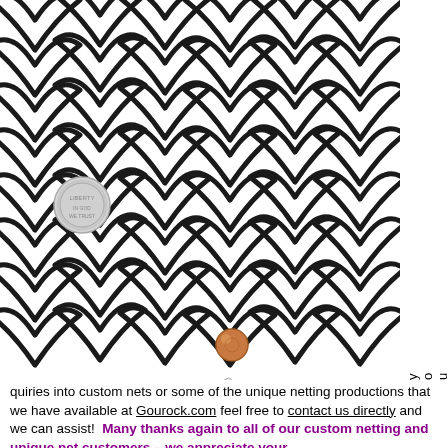[Figure (photo): Close-up photo of black diamond-pattern netting laid flat on a white surface, with a quarter coin, a copper-colored bead, a small dark disc, and a metal ruler (PRO ART brand) placed on top to show scale.]
you have questions or in
quiries into custom nets or some of the unique netting productions that we have available at Gourock.com feel free to contact us directly and we can assist!  Many thanks again to all of our custom netting and unique net customers – we appreciate your